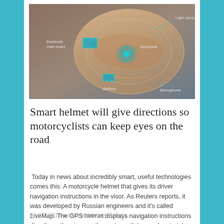[Figure (illustration): Smart motorcycle helmet diagram showing internal components labeled: Electronic main board, Light sensor, Earphone, Battery, Microphone. The helmet is shown as a transparent orange/amber 3D rendering with teal/cyan component highlights on a grey-blue background.]
Smart helmet will give directions so motorcyclists can keep eyes on the road
Today in news about incredibly smart, useful technologies comes this: A motorcycle helmet that gives its driver navigation instructions in the visor. As Reuters reports, it was developed by Russian engineers and it's called LiveMap. The GPS helmet displays navigation instructions directly on the visor, so the motorcyclist never has to take his or her…
April 2, 2015 in Life, technology, Travels.